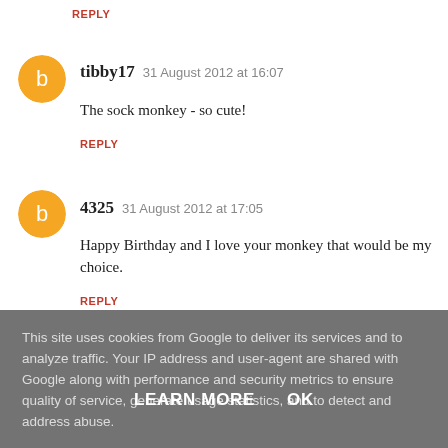REPLY
tibby17  31 August 2012 at 16:07
The sock monkey - so cute!
REPLY
4325  31 August 2012 at 17:05
Happy Birthday and I love your monkey that would be my choice.
REPLY
This site uses cookies from Google to deliver its services and to analyze traffic. Your IP address and user-agent are shared with Google along with performance and security metrics to ensure quality of service, generate usage statistics, and to detect and address abuse.
LEARN MORE   OK